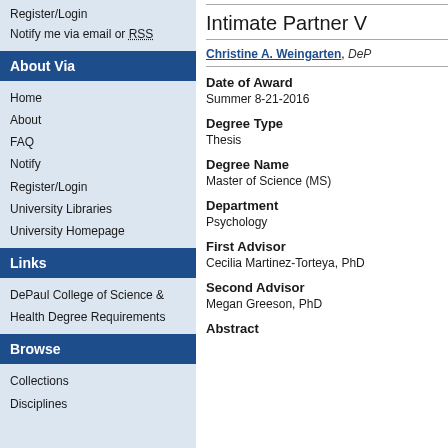Register/Login
Notify me via email or RSS
About Via
Home
About
FAQ
Notify
Register/Login
University Libraries
University Homepage
Links
DePaul College of Science & Health Degree Requirements
Browse
Collections
Disciplines
Intimate Partner V
Christine A. Weingarten, DeP
Date of Award
Summer 8-21-2016
Degree Type
Thesis
Degree Name
Master of Science (MS)
Department
Psychology
First Advisor
Cecilia Martinez-Torteya, PhD
Second Advisor
Megan Greeson, PhD
Abstract